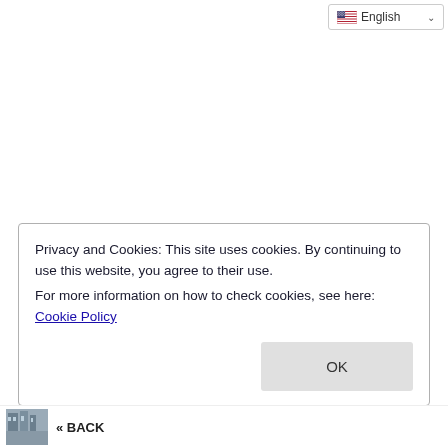English (language selector dropdown)
Privacy and Cookies: This site uses cookies. By continuing to use this website, you agree to their use.
For more information on how to check cookies, see here: Cookie Policy
OK
[Figure (photo): Thumbnail photo of a building, partial view at bottom left]
« BACK